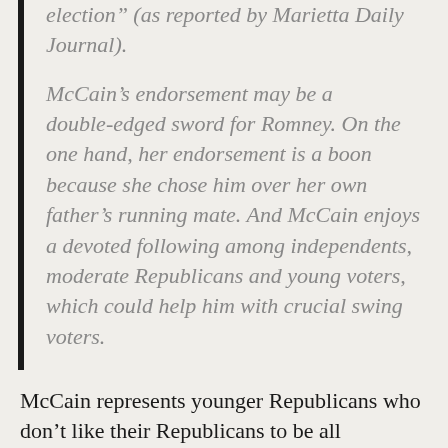election" (as reported by Marietta Daily Journal).
McCain's endorsement may be a double-edged sword for Romney. On the one hand, her endorsement is a boon because she chose him over her own father's running mate. And McCain enjoys a devoted following among independents, moderate Republicans and young voters, which could help him with crucial swing voters.
McCain represents younger Republicans who don't like their Republicans to be all